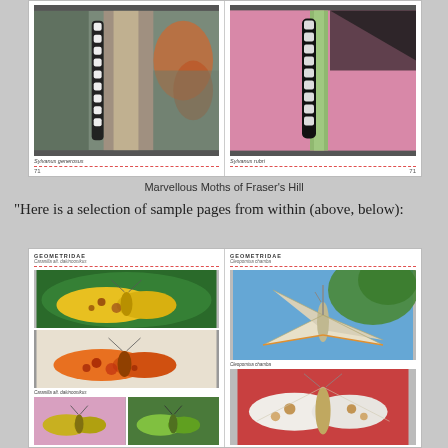[Figure (photo): Book spread showing two close-up photos of moths on tree bark/stems. Left page shows Sylvanus generosus on a tree trunk, right page shows Sylvanus rubri on a green stem with pink background.]
Marvellous Moths of Fraser's Hill
“Here is a selection of sample pages from within (above, below):
[Figure (photo): Book spread showing Geometridae moth photos. Left page shows two large yellow/orange moths (Caranilla alt. dakinoonikus) and two smaller yellow/green moths at bottom. Right page shows Geometridae moths including Cleopomixa chamba (a large pale wing-spread moth on green leaf) and a white moth with spots below.]